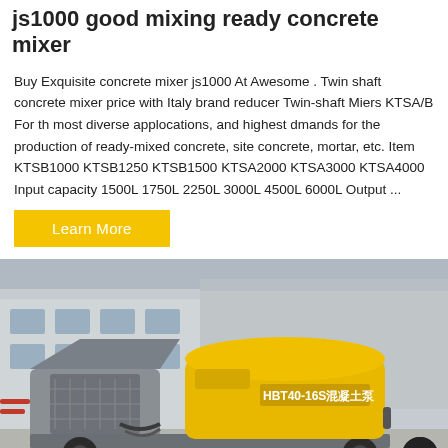js1000 good mixing ready concrete mixer
Buy Exquisite concrete mixer js1000 At Awesome . Twin shaft concrete mixer price with Italy brand reducer Twin-shaft Miers KTSA/B For th most diverse applocations, and highest dmands for the production of ready-mixed concrete, site concrete, mortar, etc. Item KTSB1000 KTSB1250 KTSB1500 KTSA2000 KTSA3000 KTSA4000 Input capacity 1500L 1750L 2250L 3000L 4500L 6000L Output ...
Learn More
[Figure (photo): Photo of a yellow and grey HBT40-16S concrete pump/mixer machine parked in a factory yard]